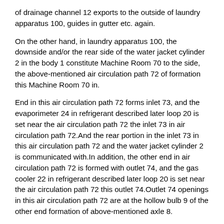of drainage channel 12 exports to the outside of laundry apparatus 100, guides in gutter etc. again.
On the other hand, in laundry apparatus 100, the downside and/or the rear side of the water jacket cylinder 2 in the body 1 constitute Machine Room 70 to the side, the above-mentioned air circulation path 72 of formation this Machine Room 70 in.
End in this air circulation path 72 forms inlet 73, and the evaporimeter 24 in refrigerant described later loop 20 is set near the air circulation path 72 the inlet 73 in air circulation path 72.And the rear portion in the inlet 73 in this air circulation path 72 and the water jacket cylinder 2 is communicated with.In addition, the other end in air circulation path 72 is formed with outlet 74, and the gas cooler 22 in refrigerant described later loop 20 is set near the air circulation path 72 this outlet 74.Outlet 74 openings in this air circulation path 72 are at the hollow bulb 9 of the other end formation of above-mentioned axle 8.
In addition, in air circulation path 72, be provided with pressure fan 75, in the reception room 10 of outlet 74 in the hollow bulb 9 of axle 8 is blown inside groove cylinder 5 in